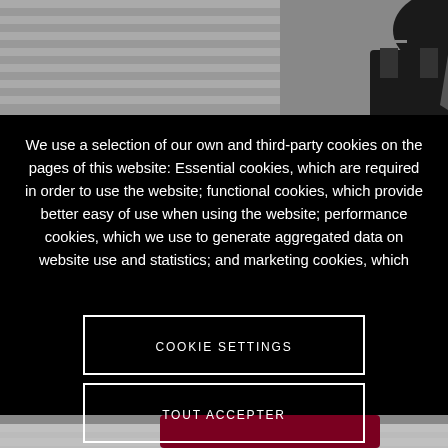[Figure (screenshot): Background showing a person in dark suit/jacket, partially visible, overlaid by a cookie consent modal dialog on a dark background with horizontal grey stripes visible at top and bottom.]
We use a selection of our own and third-party cookies on the pages of this website: Essential cookies, which are required in order to use the website; functional cookies, which provide better easy of use when using the website; performance cookies, which we use to generate aggregated data on website use and statistics; and marketing cookies, which
COOKIE SETTINGS
TOUT ACCEPTER